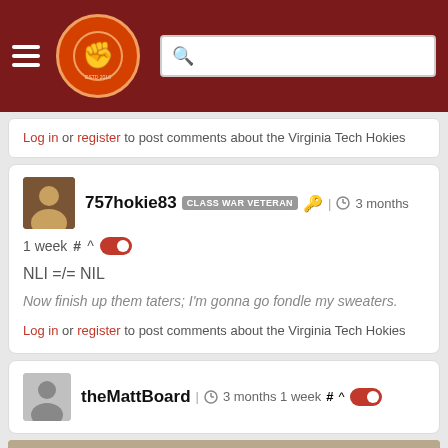[Figure (screenshot): Navigation header bar with hamburger menu, The Key Play logo (fist), and search box on dark red background]
Log in or register to post comments about the Virginia Tech Hokies
757hokie83 CLASS WAR VETERAN | 3 months
1 week # ^
NLI =/= NIL
Now finish up them taters; I'm gonna go fondle my sweaters.
Log in or register to post comments about the Virginia Tech Hokies
theMattBoard | 3 months 1 week # ^